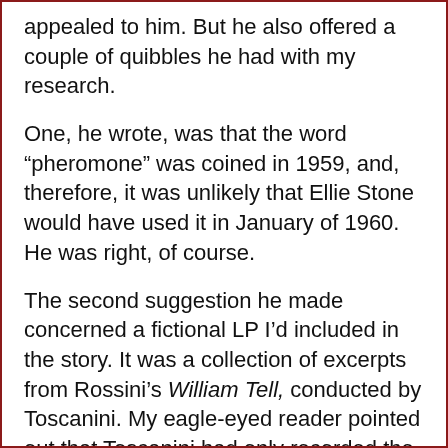appealed to him. But he also offered a couple of quibbles he had with my research.
One, he wrote, was that the word “pheromone” was coined in 1959, and, therefore, it was unlikely that Ellie Stone would have used it in January of 1960. He was right, of course.
The second suggestion he made concerned a fictional LP I’d included in the story. It was a collection of excerpts from Rossini’s William Tell, conducted by Toscanini. My eagle-eyed reader pointed out that Toscanini had only recorded the overture (of course) and one other piece from the opera. That was not enough for an entire LP. Some folks might think it a forgivable error on my part, but I wished I had done better research. My correspondent was absolutely right.
His third point was that he could find no evidence that Mrs. Oliver had ever recorded Tchaikovsky’s